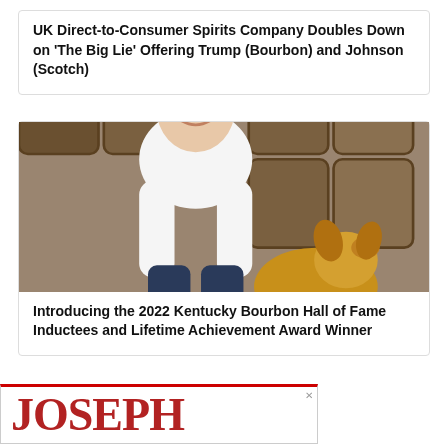UK Direct-to-Consumer Spirits Company Doubles Down on 'The Big Lie' Offering Trump (Bourbon) and Johnson (Scotch)
[Figure (photo): Composite image: left half shows Kentucky Bourbon Hall of Fame logo (Kentucky Distillers' Association) with wreath, barrel illustration; right half shows a smiling bald man in white sweater seated with a golden retriever dog in front of bourbon barrels]
Introducing the 2022 Kentucky Bourbon Hall of Fame Inductees and Lifetime Achievement Award Winner
[Figure (other): Advertisement banner showing 'JOSEPH' in large bold red serif font, with a close button (x) in the top right corner]